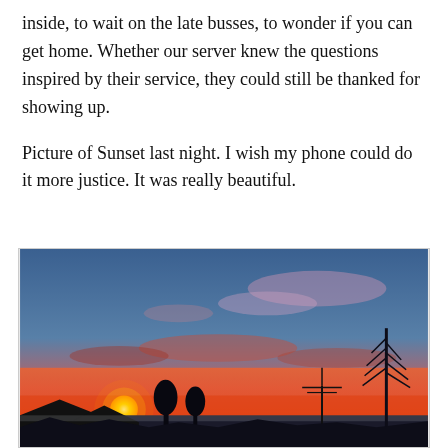inside, to wait on the late busses, to wonder if you can get home. Whether our server knew the questions inspired by their service, they could still be thanked for showing up.
Picture of Sunset last night. I wish my phone could do it more justice. It was really beautiful.
[Figure (photo): A photograph of a sunset showing a vivid orange and yellow sun low on the horizon, with silhouettes of rooftops, trees, and a TV antenna in the foreground. The sky transitions from deep blue at the top through pink and purple clouds to a bright orange-red near the horizon.]